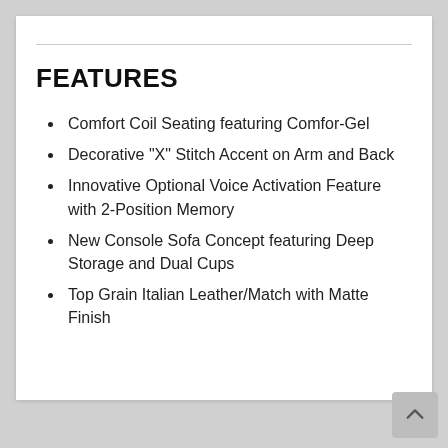FEATURES
Comfort Coil Seating featuring Comfor-Gel
Decorative "X" Stitch Accent on Arm and Back
Innovative Optional Voice Activation Feature with 2-Position Memory
New Console Sofa Concept featuring Deep Storage and Dual Cups
Top Grain Italian Leather/Match with Matte Finish